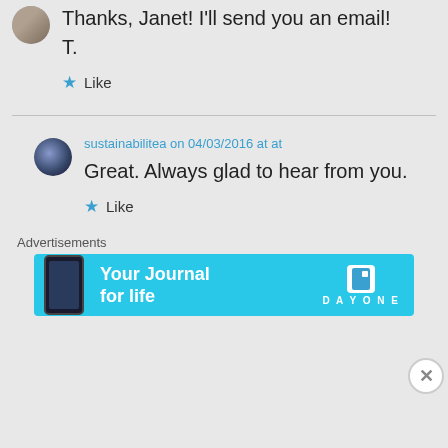Thanks, Janet! I'll send you an email!
T.
Like
sustainabilitea on 04/03/2016 at at
Great. Always glad to hear from you.
Like
Advertisements
[Figure (screenshot): Day One app advertisement banner with text 'Your Journal for life' and app icon on a light blue background]